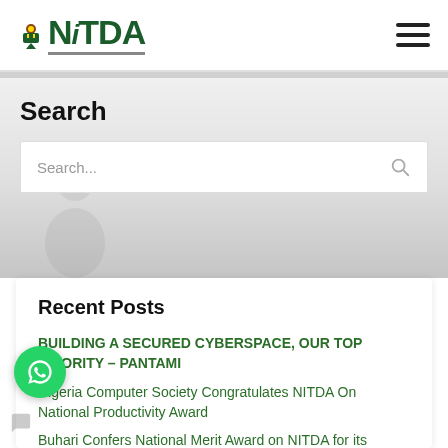[Figure (logo): NITDA (National Information Technology Development Agency) logo with Nigerian coat of arms emblem and green text on white background, with hamburger menu icon on the right]
Search
[Figure (screenshot): Search input box with placeholder text 'Search...' and a search icon on the right, on a light gray background]
[Figure (photo): Faded gray background with a silhouette figure visible]
Recent Posts
BUILDING A SECURED CYBERSPACE, OUR TOP PRIORITY – PANTAMI
Nigeria Computer Society Congratulates NITDA On National Productivity Award
Buhari Confers National Merit Award on NITDA for its